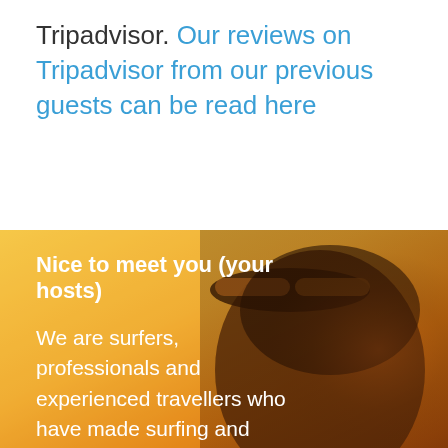Tripadvisor. Our reviews on Tripadvisor from our previous guests can be read here
[Figure (photo): Close-up photo of a person wearing sunglasses on their head, backlit by a warm golden-yellow sunset. The background is a gradient of orange and yellow tones.]
Nice to meet you (your hosts)
We are surfers, professionals and experienced travellers who have made surfing and living in amazing places our lifestyle.